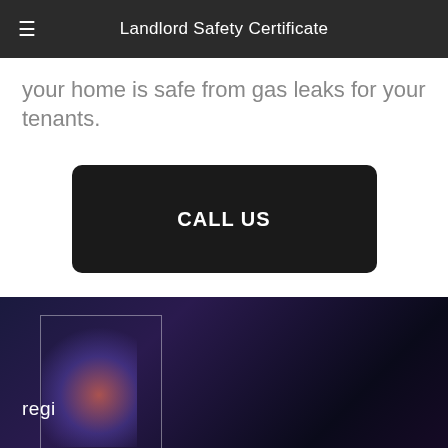Landlord Safety Certificate
your home is safe from gas leaks for your tenants.
CALL US
regi
as early as tomorrow. What's even
This website uses cookies to ensure you get the best experience on our website. Learn more Accept